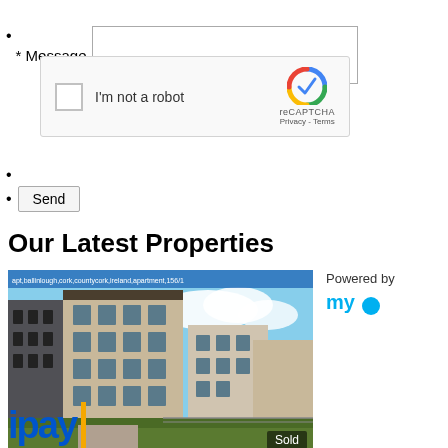* Message [textarea]
[Figure (screenshot): reCAPTCHA widget with checkbox 'I'm not a robot' and reCAPTCHA logo with Privacy - Terms links]
(empty bullet)
Send [button]
Our Latest Properties
[Figure (photo): Photo of modern apartment buildings with blue sky, green landscaping, and a 'Sold' badge in the bottom right corner. Overlay text across the top reads property address/details. 'Powered by my [logo]' shown to the right.]
[Figure (logo): ipay logo in blue bold text with an orange vertical bar]